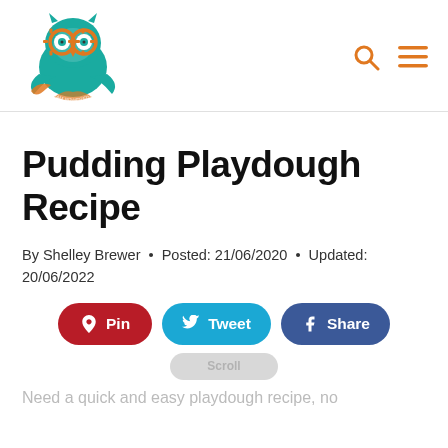Steam Powered Family logo with search and menu icons
Pudding Playdough Recipe
By Shelley Brewer • Posted: 21/06/2020 • Updated: 20/06/2022
[Figure (infographic): Social share buttons: Pin (Pinterest, red), Tweet (Twitter, cyan), Share (Facebook, blue), and a partial scroll pill button]
Need a quick and easy playdough recipe, no